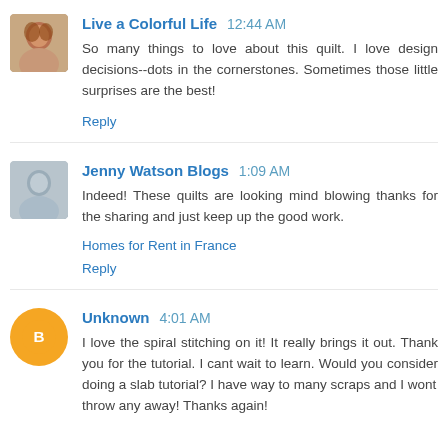[Figure (photo): Avatar photo of Live a Colorful Life commenter - person with reddish hair]
Live a Colorful Life  12:44 AM
So many things to love about this quilt. I love design decisions--dots in the cornerstones. Sometimes those little surprises are the best!
Reply
[Figure (photo): Avatar photo of Jenny Watson Blogs commenter - person in gray]
Jenny Watson Blogs  1:09 AM
Indeed! These quilts are looking mind blowing thanks for the sharing and just keep up the good work.
Homes for Rent in France
Reply
[Figure (logo): Orange circle with white B letter - Blogger default avatar]
Unknown  4:01 AM
I love the spiral stitching on it! It really brings it out. Thank you for the tutorial. I cant wait to learn. Would you consider doing a slab tutorial? I have way to many scraps and I wont throw any away! Thanks again!